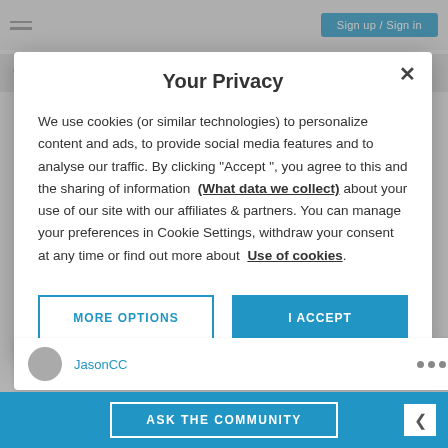Sign up / Sign in
Your Privacy
We use cookies (or similar technologies) to personalize content and ads, to provide social media features and to analyse our traffic. By clicking "Accept ", you agree to this and the sharing of information (What data we collect) about your use of our site with our affiliates & partners. You can manage your preferences in Cookie Settings, withdraw your consent at any time or find out more about Use of cookies.
MORE OPTIONS
I ACCEPT
JasonCC